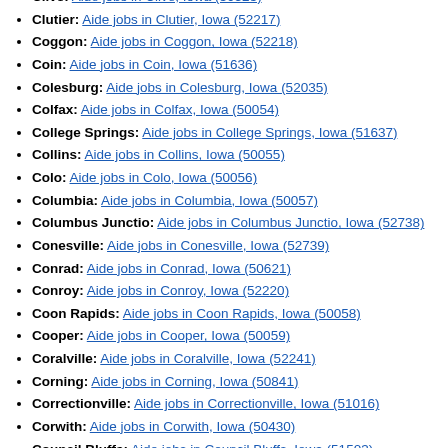Clive: Aide jobs in Clive, Iowa (50325)
Clutier: Aide jobs in Clutier, Iowa (52217)
Coggon: Aide jobs in Coggon, Iowa (52218)
Coin: Aide jobs in Coin, Iowa (51636)
Colesburg: Aide jobs in Colesburg, Iowa (52035)
Colfax: Aide jobs in Colfax, Iowa (50054)
College Springs: Aide jobs in College Springs, Iowa (51637)
Collins: Aide jobs in Collins, Iowa (50055)
Colo: Aide jobs in Colo, Iowa (50056)
Columbia: Aide jobs in Columbia, Iowa (50057)
Columbus Junctio: Aide jobs in Columbus Junctio, Iowa (52738)
Conesville: Aide jobs in Conesville, Iowa (52739)
Conrad: Aide jobs in Conrad, Iowa (50621)
Conroy: Aide jobs in Conroy, Iowa (52220)
Coon Rapids: Aide jobs in Coon Rapids, Iowa (50058)
Cooper: Aide jobs in Cooper, Iowa (50059)
Coralville: Aide jobs in Coralville, Iowa (52241)
Corning: Aide jobs in Corning, Iowa (50841)
Correctionville: Aide jobs in Correctionville, Iowa (51016)
Corwith: Aide jobs in Corwith, Iowa (50430)
Council Bluffs: Aide jobs in Council Bluffs, Iowa (51503)
Crawfordsville: Aide jobs in Crawfordsville, Iowa (52621)
Crescent: Aide jobs in Crescent, Iowa (51526)
Cresco: Aide jobs in Cresco, Iowa (52136)
Crystal Lake: Aide jobs in Crystal Lake, Iowa (50432)